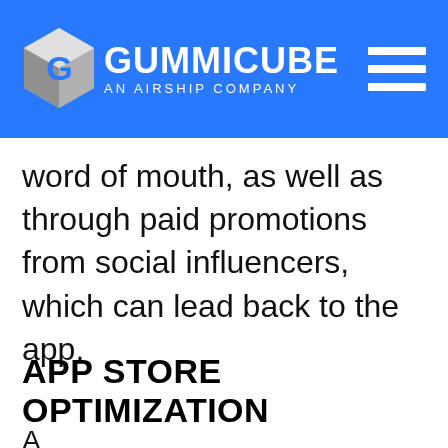[Figure (logo): Gummicube logo — cube icon on left, 'GUMMICUBE' in bold white text, 'AN AIRSHIP COMPANY' subtitle below, hamburger menu icon on the right, all on a blue background]
word of mouth, as well as through paid promotions from social influencers, which can lead back to the app.
APP STORE OPTIMIZATION
A